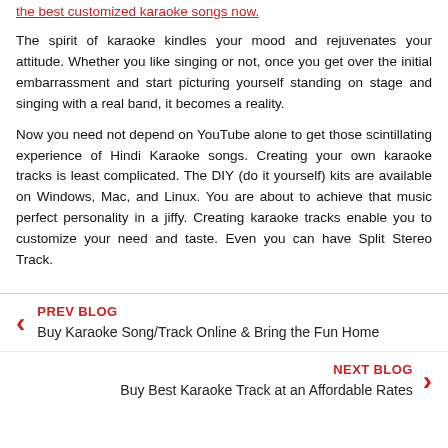the best customized karaoke songs now.
The spirit of karaoke kindles your mood and rejuvenates your attitude. Whether you like singing or not, once you get over the initial embarrassment and start picturing yourself standing on stage and singing with a real band, it becomes a reality.
Now you need not depend on YouTube alone to get those scintillating experience of Hindi Karaoke songs. Creating your own karaoke tracks is least complicated. The DIY (do it yourself) kits are available on Windows, Mac, and Linux. You are about to achieve that music perfect personality in a jiffy. Creating karaoke tracks enable you to customize your need and taste. Even you can have Split Stereo Track.
PREV BLOG
Buy Karaoke Song/Track Online & Bring the Fun Home
NEXT BLOG
Buy Best Karaoke Track at an Affordable Rates